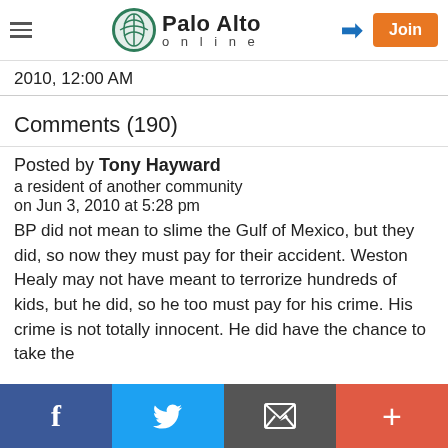Palo Alto online
2010, 12:00 AM
Comments (190)
Posted by Tony Hayward
a resident of another community
on Jun 3, 2010 at 5:28 pm
BP did not mean to slime the Gulf of Mexico, but they did, so now they must pay for their accident. Weston Healy may not have meant to terrorize hundreds of kids, but he did, so he too must pay for his crime. His crime is not totally innocent. He did have the chance to take the
f  Twitter  Email  +